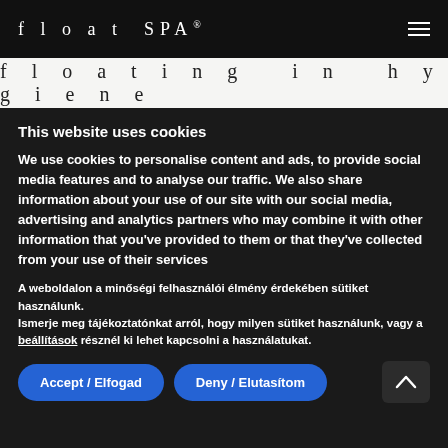float SPA®
floating in hygiene
This website uses cookies
We use cookies to personalise content and ads, to provide social media features and to analyse our traffic. We also share information about your use of our site with our social media, advertising and analytics partners who may combine it with other information that you've provided to them or that they've collected from your use of their services
A weboldalon a minőségi felhasználói élmény érdekében sütiket használunk.
Ismerje meg tájékoztatónkat arról, hogy milyen sütiket használunk, vagy a beállítások résznél ki lehet kapcsolni a használatukat.
Accept / Elfogad   Deny / Elutasítom